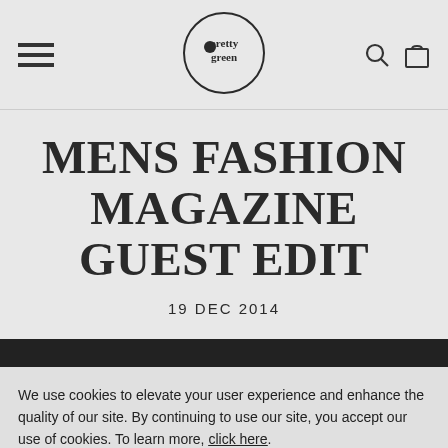Pretty Green – navigation header with hamburger menu, logo, search and bag icons
MENS FASHION MAGAZINE GUEST EDIT
19 DEC 2014
We use cookies to elevate your user experience and enhance the quality of our site. By continuing to use our site, you accept our use of cookies. To learn more, click here.
ACCEPT
MANAGE